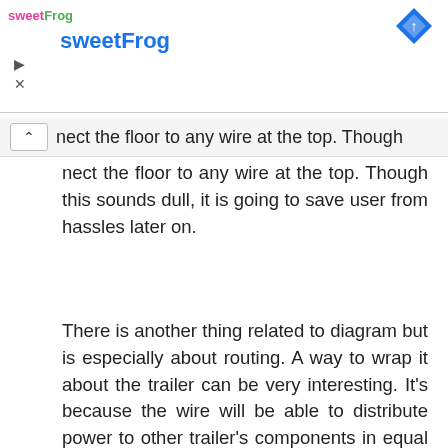sweetFrog [ad banner with sweetFrog logo and diamond icon]
nect the floor to any wire at the top. Though this sounds dull, it is going to save user from hassles later on.
There is another thing related to diagram but is especially about routing. A way to wrap it about the trailer can be very interesting. It's because the wire will be able to distribute power to other trailer's components in equal manner. Wires should be protected by substance that's powerful and durable but does not hinder its functioning.